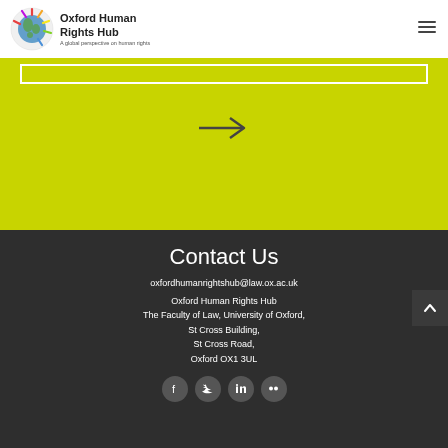Oxford Human Rights Hub — A global perspective on human rights
[Figure (logo): Oxford Human Rights Hub circular logo with colourful rays and globe, with text 'Oxford Human Rights Hub — A global perspective on human rights']
[Figure (other): Hamburger/menu icon (three horizontal lines)]
[Figure (other): White search bar outline on yellow-green (lime) background, with right-arrow symbol below]
Contact Us
oxfordhumanrightshub@law.ox.ac.uk
Oxford Human Rights Hub
The Faculty of Law, University of Oxford,
St Cross Building,
St Cross Road,
Oxford OX1 3UL
[Figure (other): Social media icons: Facebook, Twitter, LinkedIn, Flickr — white icons on dark circular backgrounds]